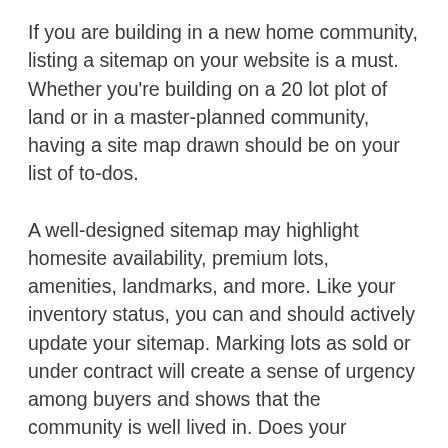If you are building in a new home community, listing a sitemap on your website is a must. Whether you're building on a 20 lot plot of land or in a master-planned community, having a site map drawn should be on your list of to-dos.
A well-designed sitemap may highlight homesite availability, premium lots, amenities, landmarks, and more. Like your inventory status, you can and should actively update your sitemap. Marking lots as sold or under contract will create a sense of urgency among buyers and shows that the community is well lived in. Does your community have lots with larger yards? More privacy? Quick water or park access? Denoting premium lots on your site map is a great way to demonstrate lot value to potential homebuyers. Who knows, they may have never considered how advantageous it would be to